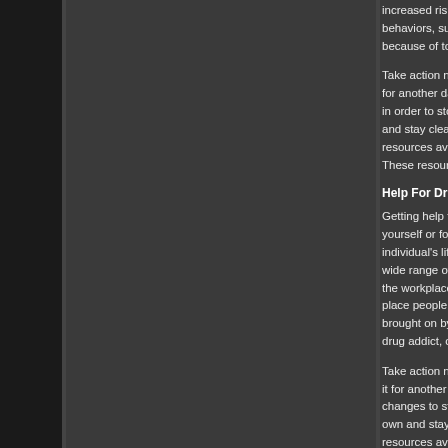increased risk for a wide variety of behaviors, such as poor living and because of toxic effects from the dr
Take action now if you or someone for another day or no changes will in order to stop their drug abuse p and stay clean. That is why the resources available to individuals These resources include numerous
Help For Drug Addiction, Ethel, M
Getting help for drug addiction m yourself or for someone you care individual's life. Their drug addictio wide range of dysfunctional behav the workplace, and the broader co place people at increased risk for brought on by behaviors, such as drug addict, or because of toxic effe
Take action now if you or someone it for another day or no changes changes to stop their drug addictio own and stay clean. That is why th resources available to persons see These resources include numerous
Prescription Drug Abuse Help, E
Help for prescription drug abuse becoming dependent on the variou shown that abuse of any drug, illic is no one form of prescription drug help for prescription drug abuse, c needs of the individual.